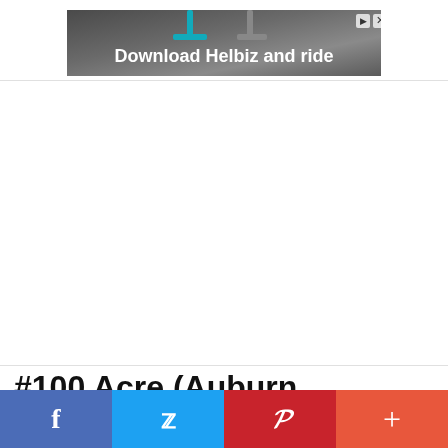[Figure (photo): Advertisement banner for Helbiz scooter app showing handlebar of electric scooter with text 'Download Helbiz and ride']
#100 Acre (Auburn, Alabama)
[Figure (infographic): Social media sharing bar with Facebook (blue), Twitter (light blue), Pinterest (red), and plus/more (coral red) buttons]